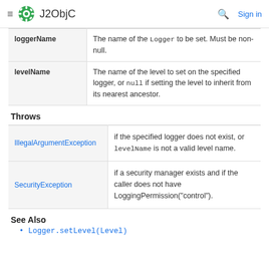J2ObjC — Sign in
| Parameter | Description |
| --- | --- |
| loggerName | The name of the Logger to be set. Must be non-null. |
| levelName | The name of the level to set on the specified logger, or null if setting the level to inherit from its nearest ancestor. |
Throws
| Exception | Description |
| --- | --- |
| IllegalArgumentException | if the specified logger does not exist, or levelName is not a valid level name. |
| SecurityException | if a security manager exists and if the caller does not have LoggingPermission("control"). |
See Also
Logger.setLevel(Level)